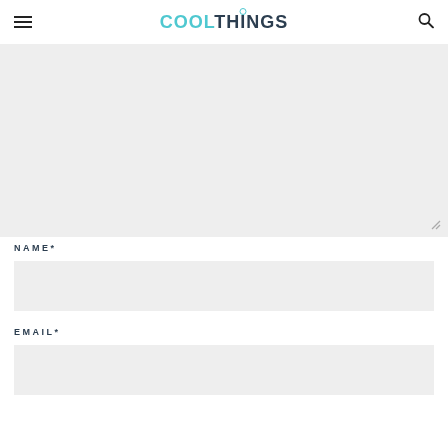COOLTHINGS
[Figure (screenshot): Large empty text area input box with light gray background and resize handle at bottom right]
NAME*
[Figure (screenshot): Name input field with light gray background]
EMAIL*
[Figure (screenshot): Email input field with light gray background]